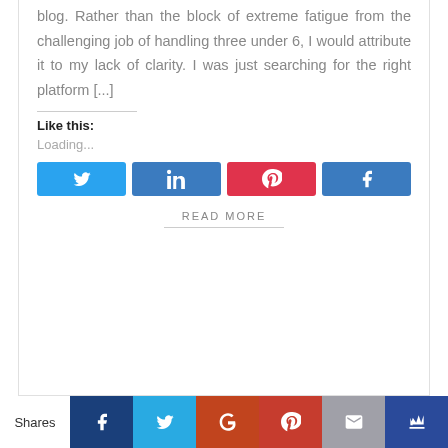blog. Rather than the block of extreme fatigue from the challenging job of handling three under 6, I would attribute it to my lack of clarity. I was just searching for the right platform [...]
Like this:
Loading...
[Figure (infographic): Four social share buttons: Twitter (blue), LinkedIn (dark blue), Pinterest (red), Facebook (blue), each with respective icon]
READ MORE
[Figure (infographic): Bottom share bar with Shares label and six icon buttons: Facebook (dark blue), Twitter (light blue), Google+ (orange-red), Pinterest (red), Mail (grey), Crown (dark blue)]